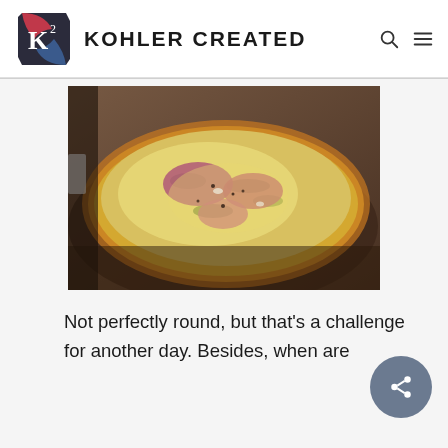KOHLER CREATED
[Figure (photo): Close-up photo of a rustic flatbread pizza with ham/prosciutto, melted cheese, and herbs on a dark baking sheet]
Not perfectly round, but that's a challenge for another day. Besides, when are